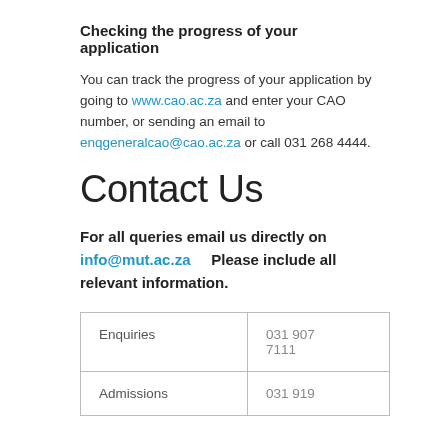Checking the progress of your application
You can track the progress of your application by going to www.cao.ac.za and enter your CAO number, or sending an email to enqgeneralcao@cao.ac.za or call 031 268 4444.
Contact Us
For all queries email us directly on info@mut.ac.za     Please include all relevant information.
|  |  |
| --- | --- |
| Enquiries | 031 907 7111 |
| Admissions | 031 919 |